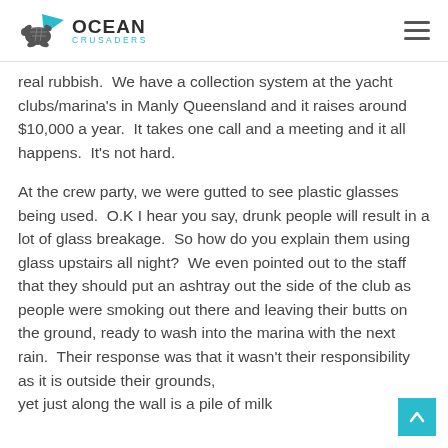Ocean Crusaders
real rubbish.  We have a collection system at the yacht clubs/marina’s in Manly Queensland and it raises around $10,000 a year.  It takes one call and a meeting and it all happens.  It’s not hard.
At the crew party, we were gutted to see plastic glasses being used.  O.K I hear you say, drunk people will result in a lot of glass breakage.  So how do you explain them using glass upstairs all night?  We even pointed out to the staff that they should put an ashtray out the side of the club as people were smoking out there and leaving their butts on the ground, ready to wash into the marina with the next rain.  Their response was that it wasn’t their responsibility as it is outside their grounds, yet just along the wall is a pile of milk